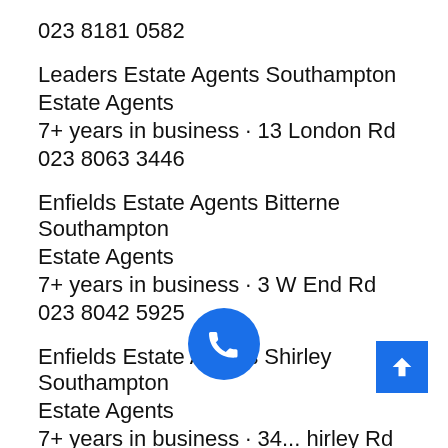023 8181 0582
Leaders Estate Agents Southampton
Estate Agents
7+ years in business · 13 London Rd
023 8063 3446
Enfields Estate Agents Bitterne Southampton
Estate Agents
7+ years in business · 3 W End Rd
023 8042 5925
Enfields Estate Agents Shirley Southampton
Estate Agents
7+ years in business · 34... hirley Rd